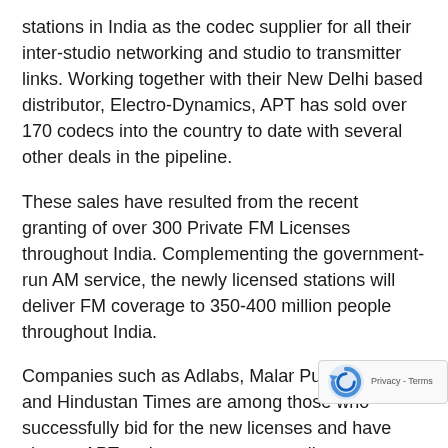stations in India as the codec supplier for all their inter-studio networking and studio to transmitter links. Working together with their New Delhi based distributor, Electro-Dynamics, APT has sold over 170 codecs into the country to date with several other deals in the pipeline.
These sales have resulted from the recent granting of over 300 Private FM Licenses throughout India. Complementing the government-run AM service, the newly licensed stations will deliver FM coverage to 350-400 million people throughout India.
Companies such as Adlabs, Malar Publications and Hindustan Times are among those who successfully bid for the new licenses and have chosen APT codecs to transport audio content over synchronous and IP links. In many cases, the station's engineering team undertook extensive field trials and consultation with leading system integrators before deciding on codecs such a the WorldCast Meridian and WorldCast Horizon.
“Key to our success in India has been the ability to offer the Enhanced apt-X audio coding and the recent launch of our WorldCast series with DSP based IP connectivity” says Guy